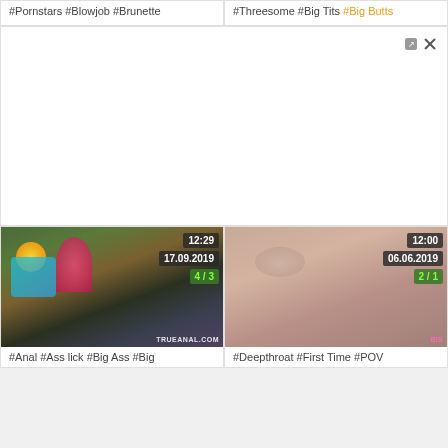#Pornstars #Blowjob #Brunette
#Threesome #Big Tits #Big Butts
[Figure (other): Large white/gray blank area with small close/minimize icons in top right]
[Figure (photo): Video thumbnail showing outdoor scene with timestamp 12:29, date 17.09.2019, count 4/3, watermark TRUEANAL.COM]
[Figure (photo): Video thumbnail showing close-up with timestamp 12:00, date 06.06.2019, count 2/1, watermark in pink]
#Anal #Ass lick #Big Ass #Big
#Deepthroat #First Time #POV